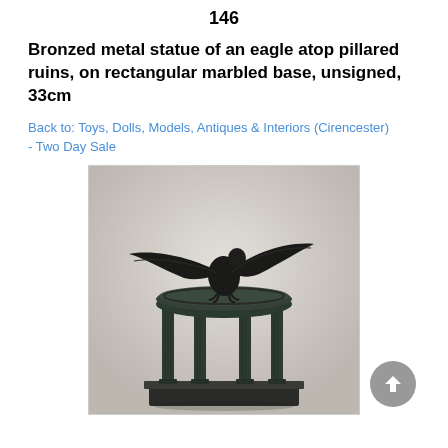146
Bronzed metal statue of an eagle atop pillared ruins, on rectangular marbled base, unsigned, 33cm
Back to: Toys, Dolls, Models, Antiques & Interiors (Cirencester) - Two Day Sale
[Figure (photo): Photograph of a bronzed metal statue of an eagle with wings spread, perched atop a circular platform supported by classical pillars, on a rectangular marbled base. The statue has a dark patina/bronzed finish.]